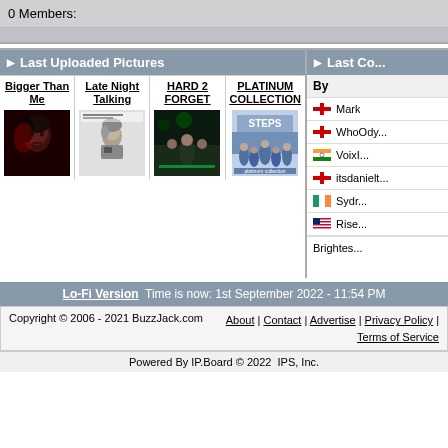0 Members:
Last Uploaded Pictures
[Figure (photo): Album cover: Bigger Than Me - dark red toned portrait photo]
[Figure (photo): Album cover: Late Night Talking - black and white portrait photo]
[Figure (photo): Album cover: HARD 2 FORGET - group photo in dark green tones]
[Figure (photo): Album cover: PLATINUM COLLECTION - Steps band photo in blue tones]
Last Co...
By
Mark
WhoOdy...
VoixI...
itsdanielt...
Sydr...
Rise...
Brightes...
Lo-Fi Version  Time is now: 1st September 2022 - 11:54 PM
Copyright © 2006 - 2021 BuzzJack.com   About | Contact | Advertise | Privacy Policy | Terms of Service
Powered By IP.Board © 2022  IPS, Inc.